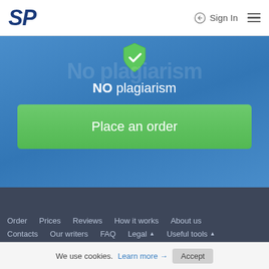SP | Sign In
[Figure (screenshot): Green shield icon with white checkmark]
NO plagiarism
Place an order
Order | Prices | Reviews | How it works | About us | Contacts | Our writers | FAQ | Legal | Useful tools
We use cookies. Learn more → Accept